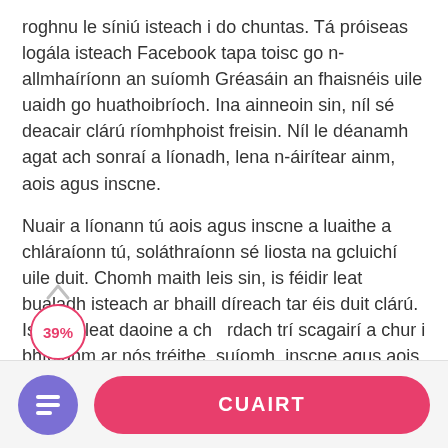roghnu le síniú isteach i do chuntas. Tá próiseas logála isteach Facebook tapa toisc go n-allmhaíríonn an suíomh Gréasáin an fhaisnéis uile uaidh go huathoibríoch. Ina ainneoin sin, níl sé deacair clárú ríomhphoist freisin. Níl le déanamh agat ach sonraí a líonadh, lena n-áirítear ainm, aois agus inscne.
Nuair a líonann tú aois agus inscne a luaithe a chláraíonn tú, soláthraíonn sé liosta na gcluichí uile duit. Chomh maith leis sin, is féidir leat bualadh isteach ar bhaill díreach tar éis duit clárú. Is féidir leat daoine a ch rdach trí scagairí a chur i bhfeidhm ar nós tréithe, suíomh, inscne agus aois.
Cáilíocht Próifílí Úsáideoirí
[Figure (infographic): Progress indicator showing 39% with upward arrow and circular badge outline in pink/red]